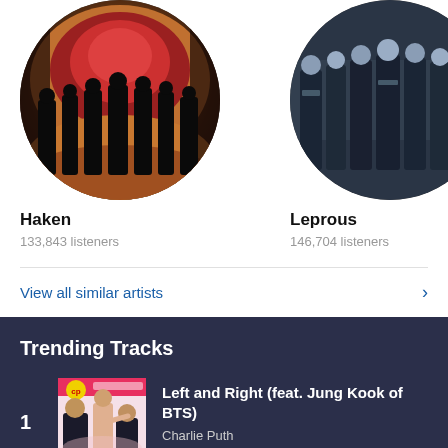[Figure (photo): Circular photo of band Haken - group of people in a tunnel with warm lighting]
Haken
133,843 listeners
[Figure (photo): Circular photo of band Leprous - group of men in dark clothing]
Leprous
146,704 listeners
[Figure (photo): Partially visible circular photo of third artist VOL]
VOL
69,4...
View all similar artists
Trending Tracks
[Figure (photo): Album art for Left and Right by Charlie Puth featuring Jung Kook of BTS]
Left and Right (feat. Jung Kook of BTS)
Charlie Puth
193,541 listeners